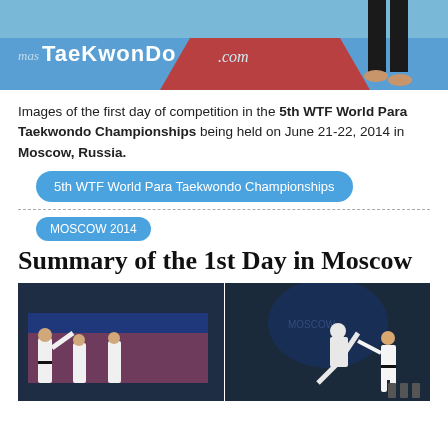[Figure (photo): Top banner photo showing a taekwondo mat with blue and red sections, and a figure standing in black uniform. The mastTaekwonDo.com logo is visible in the lower left.]
Images of the first day of competition in the 5th WTF World Para Taekwondo Championships being held on June 21-22, 2014 in Moscow, Russia.
5th WTF World Para Taekwondo Championships
MOSCOW 2014
Summary of the 1st Day in Moscow
[Figure (photo): Two side-by-side action photos from the 5th WTF World Para Taekwondo Championships in Moscow 2014, showing taekwondo competitors performing kicks and techniques on stage.]